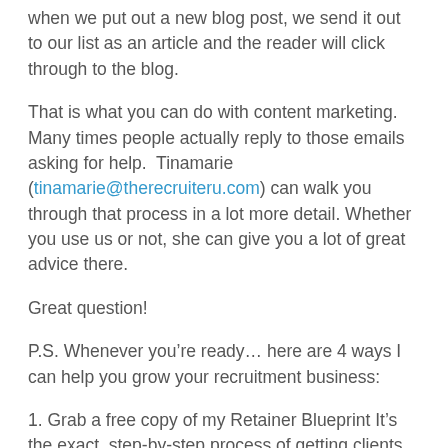when we put out a new blog post, we send it out to our list as an article and the reader will click through to the blog.
That is what you can do with content marketing. Many times people actually reply to those emails asking for help. Tinamarie (tinamarie@therecruiteru.com) can walk you through that process in a lot more detail. Whether you use us or not, she can give you a lot of great advice there.
Great question!
P.S. Whenever you’re ready… here are 4 ways I can help you grow your recruitment business:
1. Grab a free copy of my Retainer Blueprint It’s the exact, step-by-step process of getting clients to give you money...